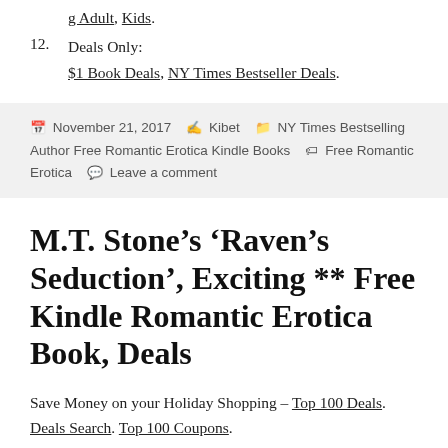g Adult, Kids.
12. Deals Only: $1 Book Deals, NY Times Bestseller Deals.
November 21, 2017  Kibet  NY Times Bestselling Author Free Romantic Erotica Kindle Books  Free Romantic Erotica  Leave a comment
M.T. Stone’s ‘Raven’s Seduction’, Exciting ** Free Kindle Romantic Erotica Book, Deals
Save Money on your Holiday Shopping – Top 100 Deals. Deals Search. Top 100 Coupons.
(partial/cut-off text at bottom)